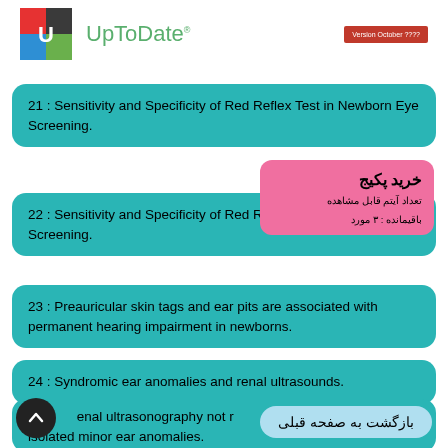[Figure (logo): UpToDate logo with colorful square icon and green text, plus red version badge reading 'Version October ????']
21 : Sensitivity and Specificity of Red Reflex Test in Newborn Eye Screening.
22 : Sensitivity and Specificity of Red Reflex Test in Newborn Eye Screening.
23 : Preauricular skin tags and ear pits are associated with permanent hearing impairment in newborns.
24 : Syndromic ear anomalies and renal ultrasounds.
25 : renal ultrasonography not r... isolated minor ear anomalies.
خرید پکیج
تعداد آیتم قابل مشاهده
باقیمانده : ۳ مورد
بازگشت به صفحه قبلی